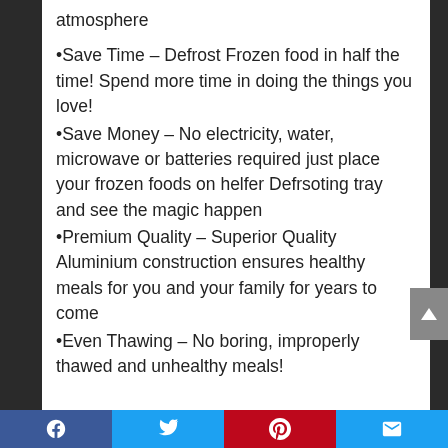atmosphere
•Save Time – Defrost Frozen food in half the time! Spend more time in doing the things you love!
•Save Money – No electricity, water, microwave or batteries required just place your frozen foods on helfer Defrsoting tray and see the magic happen
•Premium Quality – Superior Quality Aluminium construction ensures healthy meals for you and your family for years to come
•Even Thawing – No boring, improperly thawed and unhealthy meals!
Facebook | Twitter | Pinterest | Email